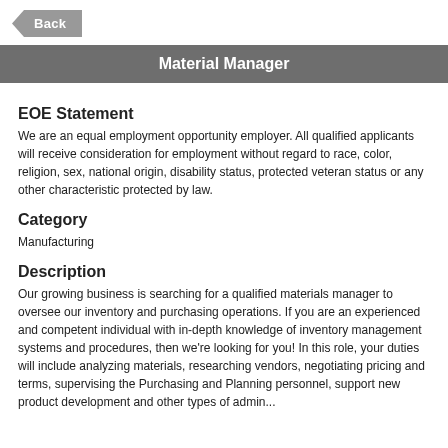[Figure (other): Back navigation button (arrow shape)]
Material Manager
EOE Statement
We are an equal employment opportunity employer. All qualified applicants will receive consideration for employment without regard to race, color, religion, sex, national origin, disability status, protected veteran status or any other characteristic protected by law.
Category
Manufacturing
Description
Our growing business is searching for a qualified materials manager to oversee our inventory and purchasing operations. If you are an experienced and competent individual with in-depth knowledge of inventory management systems and procedures, then we're looking for you! In this role, your duties will include analyzing materials, researching vendors, negotiating pricing and terms, supervising the Purchasing and Planning personnel, support new product development and other types of admin...